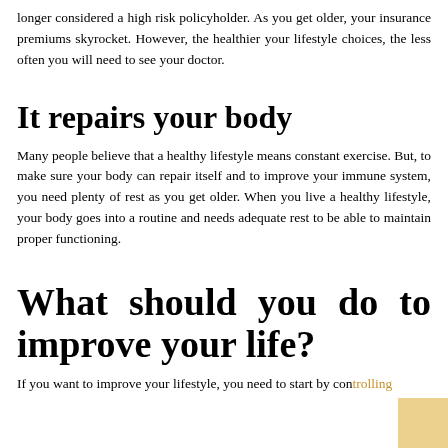longer considered a high risk policyholder. As you get older, your insurance premiums skyrocket. However, the healthier your lifestyle choices, the less often you will need to see your doctor.
It repairs your body
Many people believe that a healthy lifestyle means constant exercise. But, to make sure your body can repair itself and to improve your immune system, you need plenty of rest as you get older. When you live a healthy lifestyle, your body goes into a routine and needs adequate rest to be able to maintain proper functioning.
What should you do to improve your life?
If you want to improve your lifestyle, you need to start by controlling